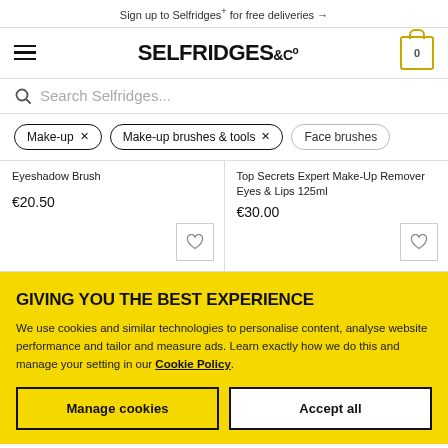Sign up to Selfridges+ for free deliveries →
[Figure (screenshot): Selfridges & Co logo with hamburger menu and cart icon showing 0]
Search Selfridges...
Make-up ×
Make-up brushes & tools ×
Face brushes
Eyeshadow Brush
€20.50
Top Secrets Expert Make-Up Remover Eyes & Lips 125ml
€30.00
GIVING YOU THE BEST EXPERIENCE
We use cookies and similar technologies to personalise content, analyse website performance and tailor and measure ads. Learn exactly how we do this and manage your setting in our Cookie Policy.
Manage cookies
Accept all